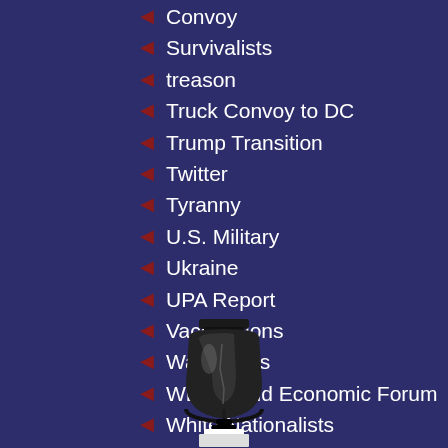Convoy
Survivalists
treason
Truck Convoy to DC
Trump Transition
Twitter
Tyranny
U.S. Military
Ukraine
UPA Report
Vaccinations
Watchdogs
WEF World Economic Forum
White Nationalists
[Figure (illustration): Black and white image of the Liberty Bell held aloft, partially cropped at bottom of page]